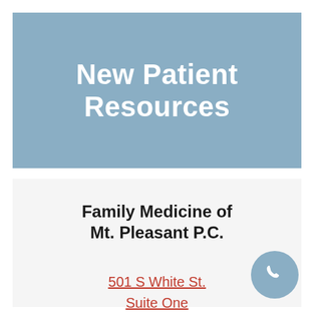New Patient Resources
Family Medicine of Mt. Pleasant P.C.
501 S White St.
Suite One